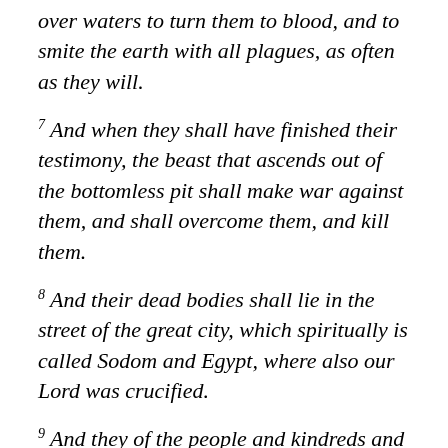over waters to turn them to blood, and to smite the earth with all plagues, as often as they will.
7 And when they shall have finished their testimony, the beast that ascends out of the bottomless pit shall make war against them, and shall overcome them, and kill them.
8 And their dead bodies shall lie in the street of the great city, which spiritually is called Sodom and Egypt, where also our Lord was crucified.
9 And they of the people and kindreds and tongues and nations shall see their dead bodies three days and an half, and shall not allow their